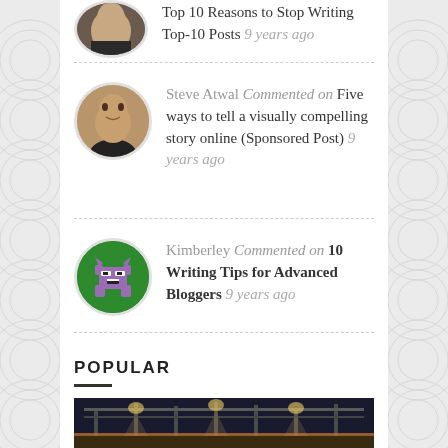Top 10 Reasons to Stop Writing Top-10 Posts 9 years ago
Steve Atwal Commented on Five ways to tell a visually compelling story online (Sponsored Post) 9 years ago
Kimberley Commented on 10 Writing Tips for Advanced Bloggers 9 years ago
POPULAR
[Figure (photo): Indoor event venue with stage lighting and truss structure]